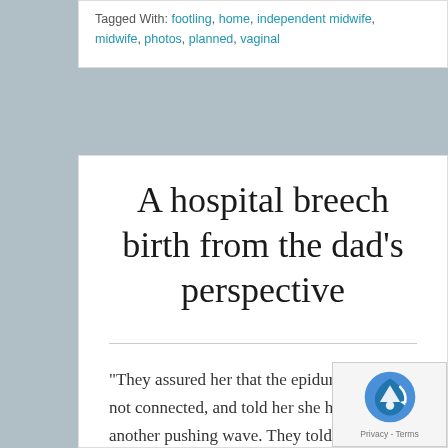Tagged With: footling, home, independent midwife, midwife, photos, planned, vaginal
A hospital breech birth from the dad's perspective
“They assured her that the epidural tube was not connected, and told her she had to trigger another pushing wave. They told me to kiss Nicole, to try and help the process, because kissing can promote the release of oxytocin, which stimulates uterine contractions. And so, with about a dozen people around the operating